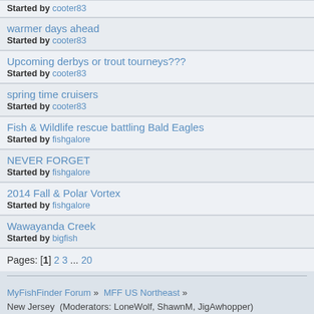Started by cooter83
warmer days ahead
Started by cooter83
Upcoming derbys or trout tourneys???
Started by cooter83
spring time cruisers
Started by cooter83
Fish & Wildlife rescue battling Bald Eagles
Started by fishgalore
NEVER FORGET
Started by fishgalore
2014 Fall & Polar Vortex
Started by fishgalore
Wawayanda Creek
Started by bigfish
Pages: [1] 2 3 ... 20
MyFishFinder Forum » MFF US Northeast » New Jersey (Moderators: LoneWolf, ShawnM, JigAwhopper)
Jump to:
=> New Jersey